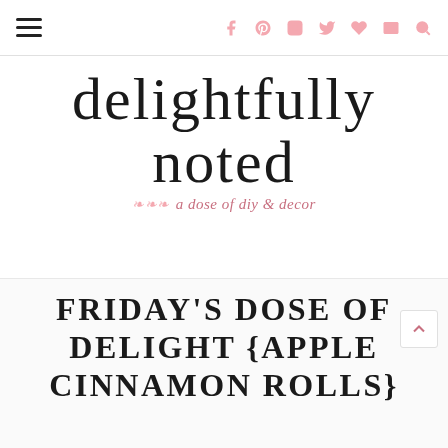Navigation bar with hamburger menu and social icons (f, Pinterest, Instagram, Twitter, heart, mail, search) in pink
delightfully noted — a dose of diy & decor
FRIDAY'S DOSE OF DELIGHT {APPLE CINNAMON ROLLS}